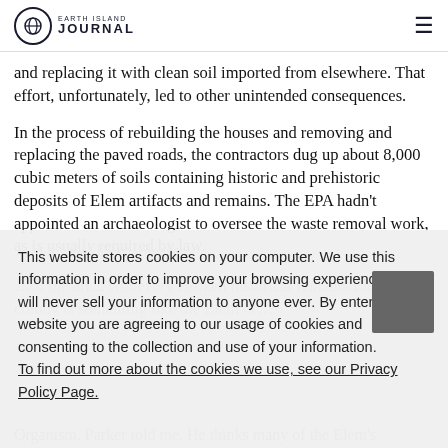Earth Island Journal
and replacing it with clean soil imported from elsewhere. That effort, unfortunately, led to other unintended consequences.
In the process of rebuilding the houses and removing and replacing the paved roads, the contractors dug up about 8,000 cubic meters of soils containing historic and prehistoric deposits of Elem artifacts and remains. The EPA hadn't appointed an archaeologist to oversee the waste removal work, as is usually required by law.
This website stores cookies on your computer. We use this information in order to improve your browsing experience. We will never sell your information to anyone ever. By entering our website you are agreeing to our usage of cookies and consenting to the collection and use of your information. To find out more about the cookies we use, see our Privacy Policy Page.
Organism, Parker told me. He thinks many of the Elem's